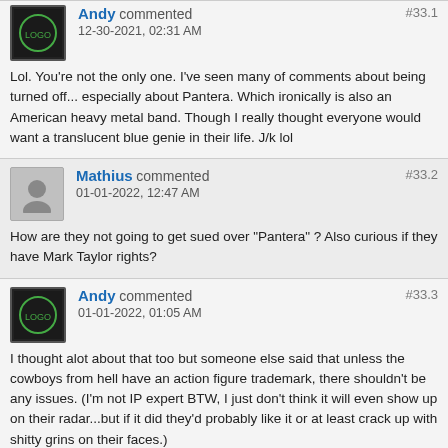Andy commented
12-30-2021, 02:31 AM
#33.1
Lol. You're not the only one. I've seen many of comments about being turned off... especially about Pantera. Which ironically is also an American heavy metal band. Though I really thought everyone would want a translucent blue genie in their life. J/k lol
Mathius commented
01-01-2022, 12:47 AM
#33.2
How are they not going to get sued over "Pantera" ? Also curious if they have Mark Taylor rights?
Andy commented
01-01-2022, 01:05 AM
#33.3
I thought alot about that too but someone else said that unless the cowboys from hell have an action figure trademark, there shouldn't be any issues. (I'm not IP expert BTW, I just don't think it will even show up on their radar...but if it did they'd probably like it or at least crack up with shitty grins on their faces.)

Emil did a podcast talking about Mark Taylor and it almost sounded like a collaboration or something along the lines of passing on his work with permission.

I'm actually most surprised they can get away with Barbaros since he has been documented as an early He-man concept.